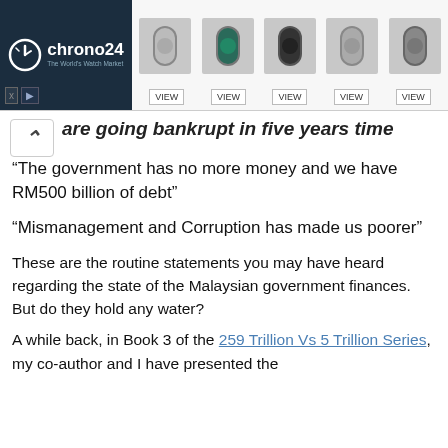[Figure (screenshot): Chrono24 advertisement banner with watch thumbnails and VIEW buttons]
are going bankrupt in five years time
“The government has no more money and we have RM500 billion of debt”
“Mismanagement and Corruption has made us poorer”
These are the routine statements you may have heard regarding the state of the Malaysian government finances.  But do they hold any water?
A while back, in Book 3 of the 259 Trillion Vs 5 Trillion Series, my co-author and I have presented the